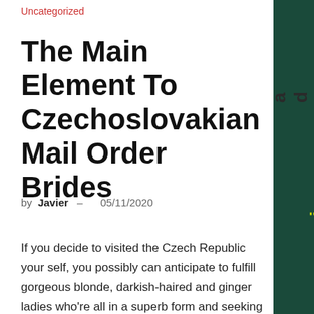Uncategorized
The Main Element To Czechoslovakian Mail Order Brides
by Javier – 05/11/2020
If you decide to visited the Czech Republic your self, you possibly can anticipate to fulfill gorgeous blonde, darkish-haired and ginger ladies who're all in a superb form and seeking